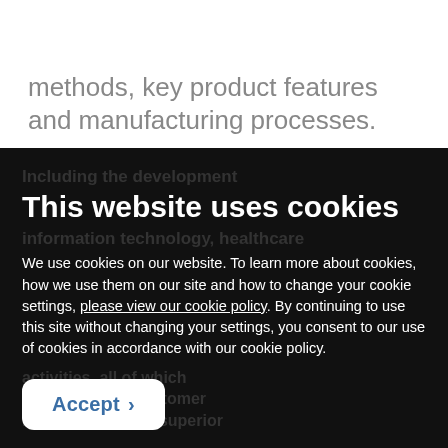methods, key product features and manufacturing processes.
This website uses cookies
We use cookies on our website. To learn more about cookies, how we use them on our site and how to change your cookie settings, please view our cookie policy. By continuing to use this site without changing your settings, you consent to our use of cookies in accordance with our cookie policy.
Accept